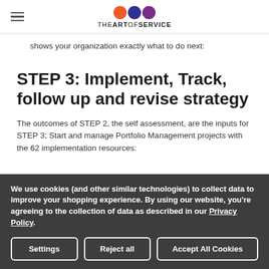THE ART OF SERVICE
shows your organization exactly what to do next:
STEP 3: Implement, Track, follow up and revise strategy
The outcomes of STEP 2, the self assessment, are the inputs for STEP 3; Start and manage Portfolio Management projects with the 62 implementation resources:
We use cookies (and other similar technologies) to collect data to improve your shopping experience. By using our website, you're agreeing to the collection of data as described in our Privacy Policy.